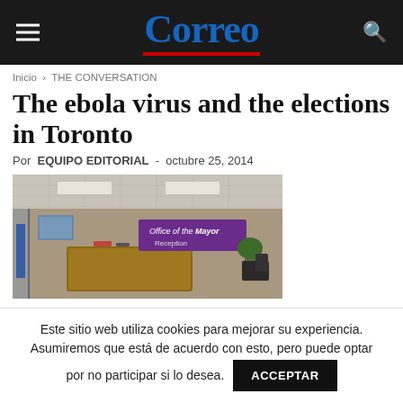Correo
Inicio › THE CONVERSATION
The ebola virus and the elections in Toronto
Por EQUIPO EDITORIAL - octubre 25, 2014
[Figure (photo): Interior of Office of the Mayor Reception area, showing a reception desk, purple banner reading 'Office of the Mayor Reception', and office furnishings.]
Este sitio web utiliza cookies para mejorar su experiencia. Asumiremos que está de acuerdo con esto, pero puede optar por no participar si lo desea. ACCEPTAR